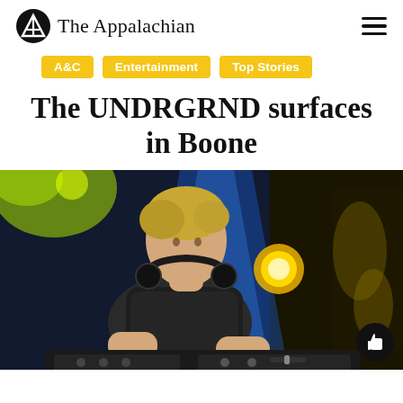The Appalachian
A&C
Entertainment
Top Stories
The UNDRGRND surfaces in Boone
[Figure (photo): A young male DJ with headphones around his neck leaning over DJ equipment under colorful stage lighting — blue, yellow, and green lights in a dark club setting.]